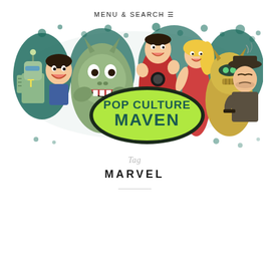MENU & SEARCH ☰
[Figure (illustration): Pop Culture Maven banner illustration featuring cartoon characters including a robot, a large monster, a superhero, a blonde woman, another robot/alien character, and a detective with a gun. Center has a green oval logo reading 'POP CULTURE MAVEN' in teal bold text on a lime green background with a dark border. Background has teal splatter pattern.]
Tag
MARVEL
———